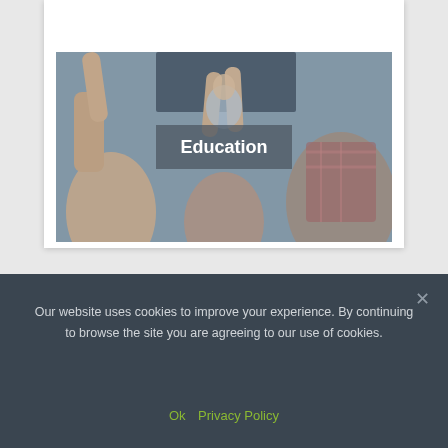[Figure (photo): Partial view of a building with glass/geometric architectural elements, partially cropped at top]
[Figure (photo): Classroom photo showing students raising hands from behind, with a teacher visible in the background, overlaid with a semi-transparent gray box containing the word 'Education' in white bold text]
Our website uses cookies to improve your experience. By continuing to browse the site you are agreeing to our use of cookies.
Ok   Privacy Policy